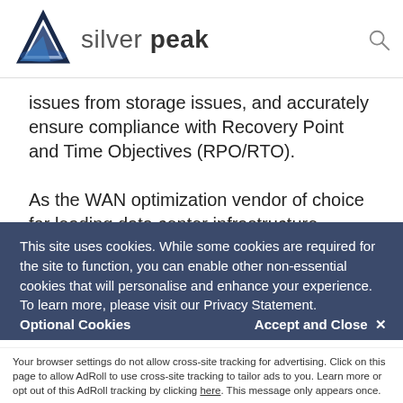[Figure (logo): Silver Peak logo with triangular icon in blue/dark colors and the text 'silver peak' in gray]
issues from storage issues, and accurately ensure compliance with Recovery Point and Time Objectives (RPO/RTO).
As the WAN optimization vendor of choice for leading data center infrastructure companies, Silver Peak has created dashboards for the leading data center applications, including 3Par
This site uses cookies. While some cookies are required for the site to function, you can enable other non-essential cookies that will personalise and enhance your experience. To learn more, please visit our Privacy Statement.
Accept and Close ✕
Optional Cookies
Your browser settings do not allow cross-site tracking for advertising. Click on this page to allow AdRoll to use cross-site tracking to tailor ads to you. Learn more or opt out of this AdRoll tracking by clicking here. This message only appears once.